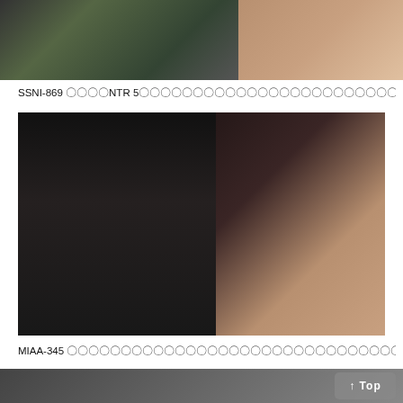[Figure (photo): Top product image showing DVD cover with green packaging and barcode on left, and a woman on right]
SSNI-869 〇〇〇〇NTR 5〇〇〇〇〇〇〇〇〇〇〇〇〇〇〇〇〇〇〇〇〇〇〇〇〇〇〇〇〇〇〇〇〇〇〇〇〇〇〇〇〇〇〇〇〇〇〇〇... 〇〇〇〇
[Figure (photo): Main product image MIAA-345 DVD cover showing athletic woman in sportswear, Japanese text キメセク, 陸上少女が強化合宿中に鬼畜コーチに媚薬を盛られて, 吉良りん]
MIAA-345 〇〇〇〇〇〇〇〇〇〇〇〇〇〇〇〇〇〇〇〇〇〇〇〇〇〇〇〇〇〇〇〇〇 〇〇〇〇
[Figure (photo): Bottom partial product image]